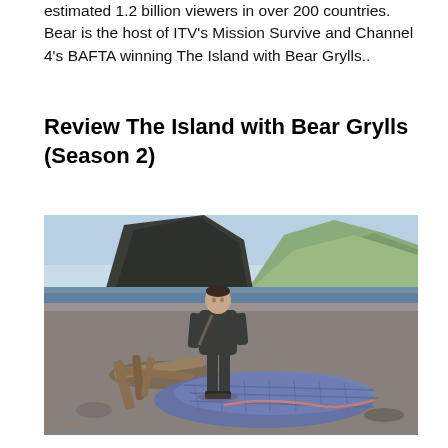estimated 1.2 billion viewers in over 200 countries. Bear is the host of ITV's Mission Survive and Channel 4's BAFTA winning The Island with Bear Grylls..
Review The Island with Bear Grylls (Season 2)
[Figure (photo): Bear Grylls standing on a rocky beach with fishing nets/crab pots piled in the foreground and dark cliffs/mountains in the background under a blue sky]